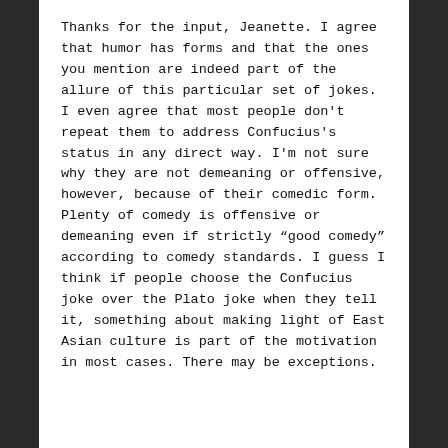Thanks for the input, Jeanette. I agree that humor has forms and that the ones you mention are indeed part of the allure of this particular set of jokes. I even agree that most people don't repeat them to address Confucius's status in any direct way. I'm not sure why they are not demeaning or offensive, however, because of their comedic form. Plenty of comedy is offensive or demeaning even if strictly “good comedy” according to comedy standards. I guess I think if people choose the Confucius joke over the Plato joke when they tell it, something about making light of East Asian culture is part of the motivation in most cases. There may be exceptions.